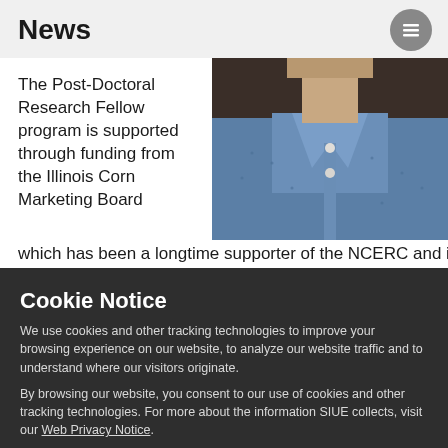News
The Post-Doctoral Research Fellow program is supported through funding from the Illinois Corn Marketing Board which has been a longtime supporter of the NCERC and its
[Figure (photo): Person wearing a blue patterned button-up shirt, cropped to show collar/chest area, dark background]
Cookie Notice
We use cookies and other tracking technologies to improve your browsing experience on our website, to analyze our website traffic and to understand where our visitors originate.
By browsing our website, you consent to our use of cookies and other tracking technologies. For more about the information SIUE collects, visit our Web Privacy Notice.